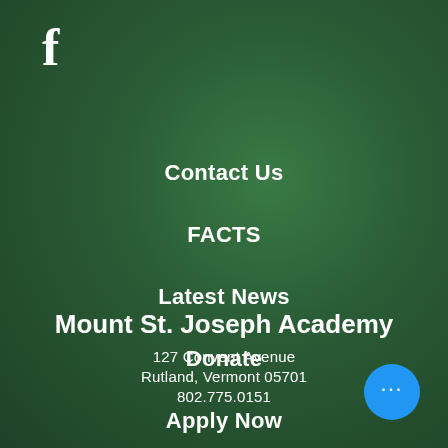[Figure (logo): Facebook 'f' icon in white on green background]
Contact Us
FACTS
Latest News
Donate
Apply Now
Mount St. Joseph Academy
127 Convent Avenue
Rutland, Vermont 05701
802.775.0151